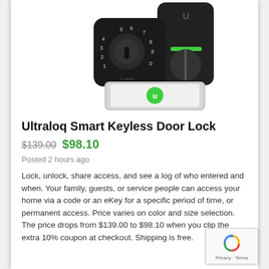[Figure (photo): Product photo of the Ultraloq Smart Keyless Door Lock showing the front numeric keypad unit, the back interior unit with rotating knob, and a smartphone displaying the app with a green unlock button.]
Ultraloq Smart Keyless Door Lock
$139.00 $98.10
Posted 2 hours ago
Lock, unlock, share access, and see a log of who entered and when. Your family, guests, or service people can access your home via a code or an eKey for a specific period of time, or permanent access. Price varies on color and size selection. The price drops from $139.00 to $98.10 when you clip the extra 10% coupon at checkout. Shipping is free.